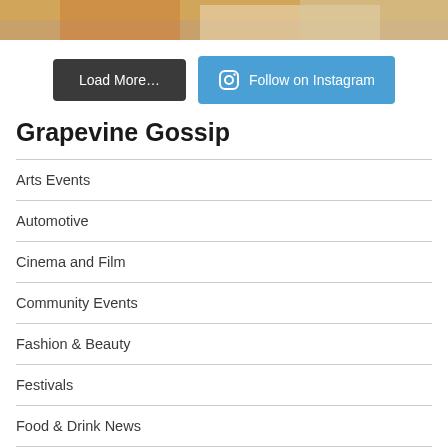[Figure (photo): Photo strip showing food items, partially visible at the top of the page]
Load More…
Follow on Instagram
Grapevine Gossip
Arts Events
Automotive
Cinema and Film
Community Events
Fashion & Beauty
Festivals
Food & Drink News